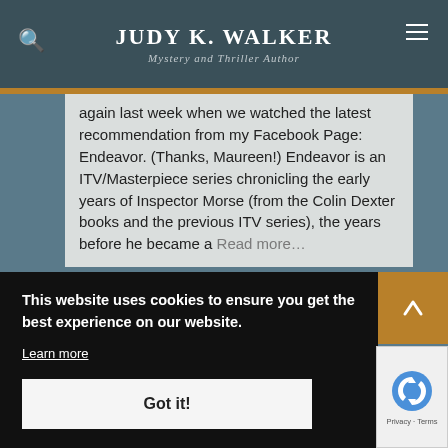JUDY K. WALKER — Mystery and Thriller Author
again last week when we watched the latest recommendation from my Facebook Page: Endeavor. (Thanks, Maureen!) Endeavor is an ITV/Masterpiece series chronicling the early years of Inspector Morse (from the Colin Dexter books and the previous ITV series), the years before he became a Read more...
This website uses cookies to ensure you get the best experience on our website.
Learn more
Got it!
[Figure (screenshot): Bottom portion of website showing a partial image of a person's face/head at the bottom of the page]